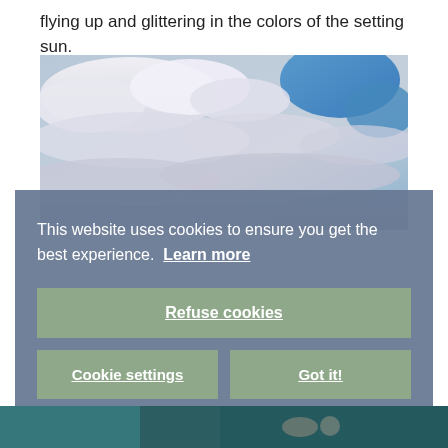flying up and glittering in the colors of the setting sun.
[Figure (photo): Sky filled with white and grey clouds with patches of blue sky visible in the upper right area.]
This website uses cookies to ensure you get the best experience. Learn more
Refuse cookies
Cookie settings
Got it!
[Figure (photo): Partial view of a bottom photo, appears to show water and figures.]